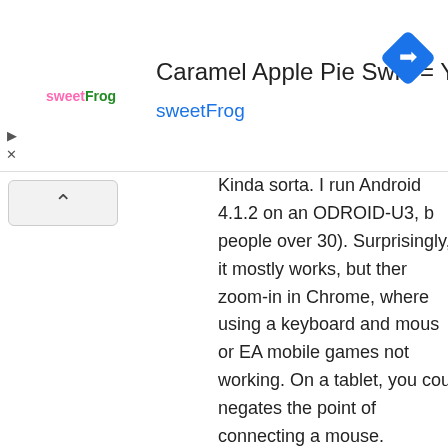[Figure (advertisement): sweetFrog frozen yogurt ad banner with logo, title 'Caramel Apple Pie Swirl = Yum', subtitle 'sweetFrog', and a blue navigation/directions icon diamond shape on the right]
Kinda sorta. I run Android 4.1.2 on an ODROID-U3, b people over 30). Surprisingly, it mostly works, but ther zoom-in in Chrome, where using a keyboard and mous or EA mobile games not working. On a tablet, you cou negates the point of connecting a mouse.
Also, some touch gestures which make perfect sense on mouse and keyboard. For example, reliance on the back things.
Anyway, point is, Android cannot seriously replace a P pieces say. There is no chance Android is going to de-s Desktop Linux.
Oh, and the PC market isn't declining. It's mature. Wha